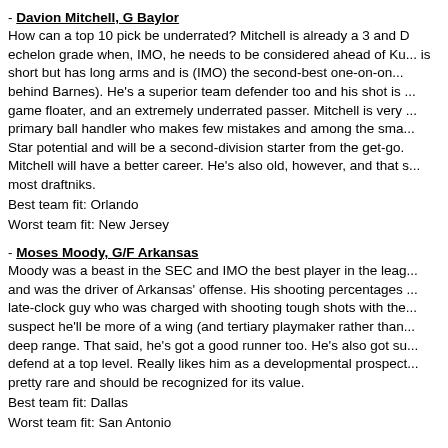- Davion Mitchell, G Baylor
How can a top 10 pick be underrated? Mitchell is already a 3 and D echelon grade when, IMO, he needs to be considered ahead of Ku... is short but has long arms and is (IMO) the second-best one-on-on... behind Barnes). He's a superior team defender too and his shot is ... game floater, and an extremely underrated passer. Mitchell is very ... primary ball handler who makes few mistakes and among the sma... Star potential and will be a second-division starter from the get-go... Mitchell will have a better career. He's also old, however, and that s... most draftniks.
Best team fit: Orlando
Worst team fit: New Jersey
- Moses Moody, G/F Arkansas
Moody was a beast in the SEC and IMO the best player in the leag... and was the driver of Arkansas' offense. His shooting percentages ... late-clock guy who was charged with shooting tough shots with the... suspect he'll be more of a wing (and tertiary playmaker rather than... deep range. That said, he's got a good runner too. He's also got su... defend at a top level. Really likes him as a developmental prospect... pretty rare and should be recognized for its value.
Best team fit: Dallas
Worst team fit: San Antonio
Five I Like Less:
- Scottie Barnes, F FSU
Barnes will provide some value because his defense is smothering... he's good at all the little things. But his jumper is broken. Like Mich... Barnes will have to completely redesign his jumper while trying to ...